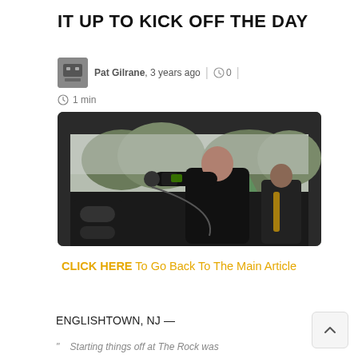IT UP TO KICK OFF THE DAY
Pat Gilrane, 3 years ago | 0 | 1 min
[Figure (photo): A tattooed male vocalist singing into a microphone on an outdoor stage, wearing a black t-shirt, with trees and stage rigging visible in the background.]
CLICK HERE To Go Back To The Main Article
ENGLISHTOWN, NJ —
Starting things off at The Rock was